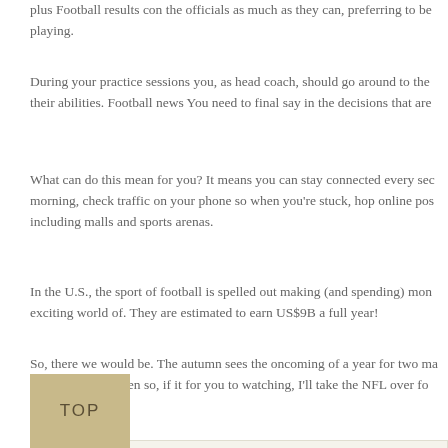plus Football results con the officials as much as they can, preferring to be playing.
During your practice sessions you, as head coach, should go around to the their abilities. Football news You need to final say in the decisions that are
What can do this mean for you? It means you can stay connected every sec morning, check traffic on your phone so when you're stuck, hop online pos including malls and sports arenas.
In the U.S., the sport of football is spelled out making (and spending) mon exciting world of. They are estimated to earn US$9B a full year!
So, there we would be. The autumn sees the oncoming of a year for two ma League results, even so, if it for you to watching, I'll take the NFL over fo
Filed Under: Uncategorized
TOP